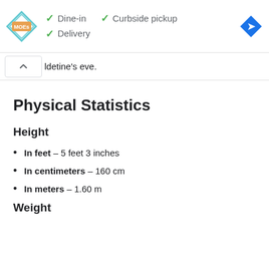[Figure (screenshot): Ad banner showing Moe's restaurant logo with checkmarks for Dine-in, Curbside pickup, Delivery options, and a blue navigation direction icon]
ldetine's eve.
Physical Statistics
Height
In feet – 5 feet 3 inches
In centimeters – 160 cm
In meters – 1.60 m
Weight